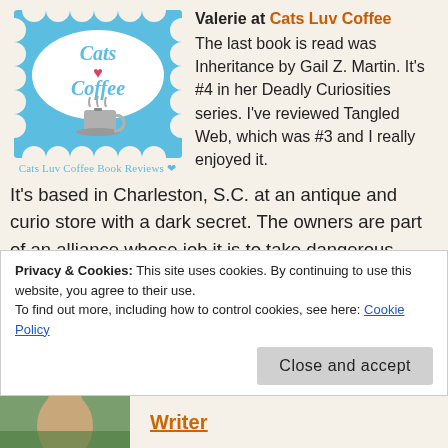[Figure (logo): Cats Luv Coffee logo: blue background with white oval containing script text 'Cats Coffee' with a heart and coffee cup icon]
Cats Luv Coffee Book Reviews ❤
Valerie at Cats Luv Coffee
The last book is read was Inheritance by Gail Z. Martin. It's #4 in her Deadly Curiosities series. I've reviewed Tangled Web, which was #3 and I really enjoyed it. It's based in Charleston, S.C. at an antique and curio store with a dark secret. The owners are part of an alliance whose job it is to take dangerous magical and supernatural items out of circulation. The author does a
Privacy & Cookies: This site uses cookies. By continuing to use this website, you agree to their use.
To find out more, including how to control cookies, see here: Cookie Policy
Close and accept
[Figure (photo): Partial photo of a person at bottom left]
Writer